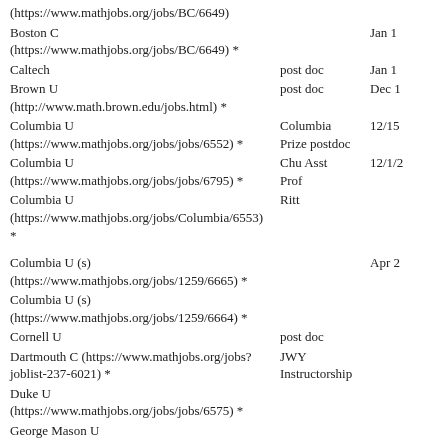(https://www.mathjobs.org/jobs/BC/6649) *
Boston C (https://www.mathjobs.org/jobs/BC/6649) *	Jan 1
Caltech	post doc	Jan 1
Brown U (http://www.math.brown.edu/jobs.html) *	post doc	Dec 1
Columbia U (https://www.mathjobs.org/jobs/jobs/6552) *	Columbia Prize postdoc	12/15
Columbia U (https://www.mathjobs.org/jobs/jobs/6795) *	Chu Asst Prof	12/1/2
Columbia U (https://www.mathjobs.org/jobs/Columbia/6553) *	Ritt
Columbia U (s) (https://www.mathjobs.org/jobs/1259/6665) *	Apr 2
Columbia U (s) (https://www.mathjobs.org/jobs/1259/6664) *
Cornell U	post doc
Dartmouth C (https://www.mathjobs.org/jobs?joblist-237-6021) *	JWY Instructorship
Duke U (https://www.mathjobs.org/jobs/jobs/6575) *
George Mason U